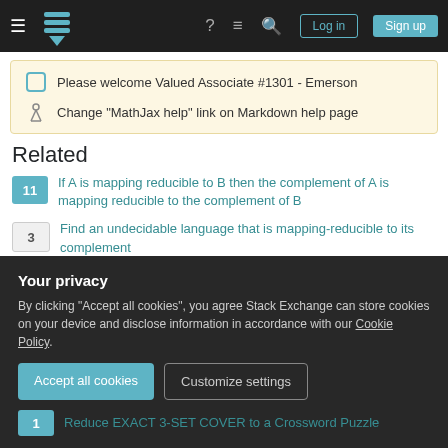Stack Exchange navigation bar with Log in and Sign up buttons
Please welcome Valued Associate #1301 - Emerson
Change "MathJax help" link on Markdown help page
Related
11 — If A is mapping reducible to B then the complement of A is mapping reducible to the complement of B
3 — Find an undecidable language that is mapping-reducible to its complement
5 — EQtm is not mapping reducible to its complement
Your privacy
By clicking "Accept all cookies", you agree Stack Exchange can store cookies on your device and disclose information in accordance with our Cookie Policy.
1 — Reduce EXACT 3-SET COVER to a Crossword Puzzle